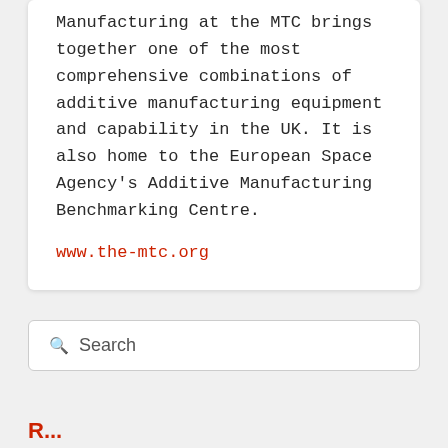Manufacturing at the MTC brings together one of the most comprehensive combinations of additive manufacturing equipment and capability in the UK. It is also home to the European Space Agency's Additive Manufacturing Benchmarking Centre.
www.the-mtc.org
Search